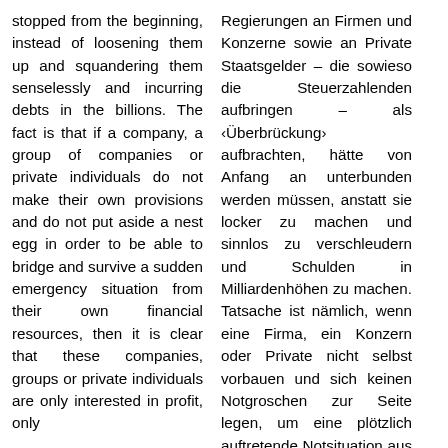stopped from the beginning, instead of loosening them up and squandering them senselessly and incurring debts in the billions. The fact is that if a company, a group of companies or private individuals do not make their own provisions and do not put aside a nest egg in order to be able to bridge and survive a sudden emergency situation from their own financial resources, then it is clear that these companies, groups or private individuals are only interested in profit, only
Regierungen an Firmen und Konzerne sowie an Private Staatsgelder – die sowieso die Steuerzahlenden aufbringen – als ‹Überbrückung› aufbrachten, hätte von Anfang an unterbunden werden müssen, anstatt sie locker zu machen und sinnlos zu verschleudern und Schulden in Milliardenhöhen zu machen. Tatsache ist nämlich, wenn eine Firma, ein Konzern oder Private nicht selbst vorbauen und sich keinen Notgroschen zur Seite legen, um eine plötzlich auftretende Notsituation aus eigenen finanziellen